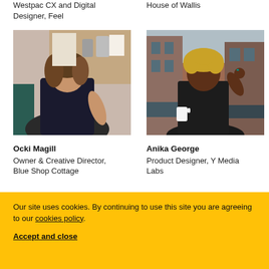Westpac CX and Digital Designer, Feel
House of Wallis
[Figure (photo): Woman with brown hair in a dark top, working in a creative studio environment with papers and bags in the background.]
Ocki Magill
Owner & Creative Director, Blue Shop Cottage
[Figure (photo): Woman with curly hair in a dark top, smiling and holding a coffee cup on a city street.]
Anika George
Product Designer, Y Media Labs
Our site uses cookies. By continuing to use this site you are agreeing to our cookies policy.
Accept and close